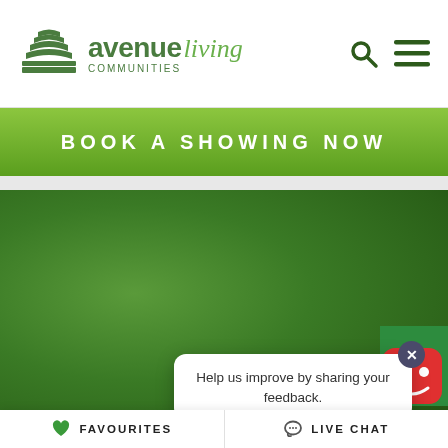[Figure (logo): Avenue Living Communities logo with green building icon, text 'avenue living communities']
[Figure (screenshot): Navigation icons: search (magnifying glass) and hamburger menu in dark green]
BOOK A SHOWING NOW
[Figure (photo): Dark green background photo, blurred building/foliage]
Help us improve by sharing your feedback.
FAVOURITES
LIVE CHAT